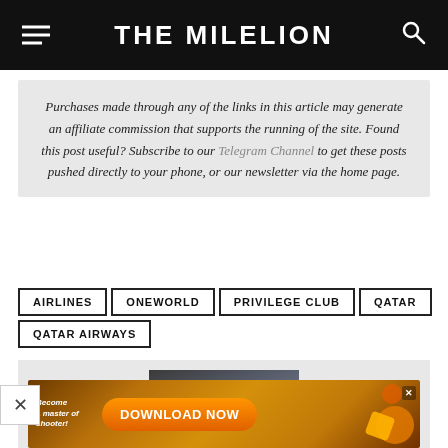THE MILELION
Purchases made through any of the links in this article may generate an affiliate commission that supports the running of the site. Found this post useful? Subscribe to our Telegram Channel to get these posts pushed directly to your phone, or our newsletter via the home page.
AIRLINES
ONEWORLD
PRIVILEGE CLUB
QATAR
QATAR AIRWAYS
[Figure (photo): Related post image showing people, partially visible at bottom of page]
[Figure (other): Advertisement banner: Become a master of shooter! DOWNLOAD NOW]